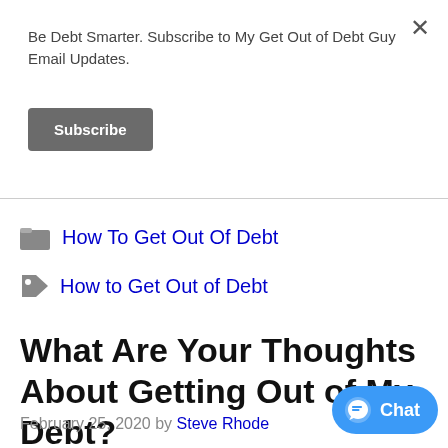Be Debt Smarter. Subscribe to My Get Out of Debt Guy Email Updates.
Subscribe
How To Get Out Of Debt
How to Get Out of Debt
What Are Your Thoughts About Getting Out of My Debt?
February 25, 2020 by Steve Rhode